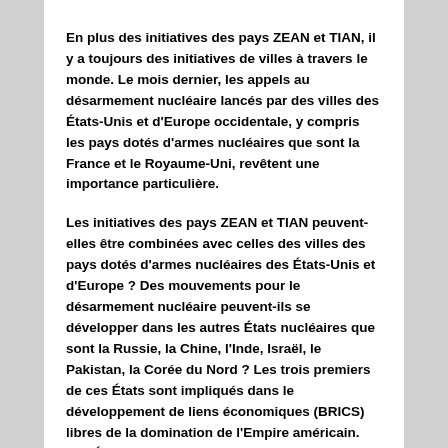En plus des initiatives des pays ZEAN et TIAN, il y a toujours des initiatives de villes à travers le monde. Le mois dernier, les appels au désarmement nucléaire lancés par des villes des États-Unis et d'Europe occidentale, y compris les pays dotés d'armes nucléaires que sont la France et le Royaume-Uni, revêtent une importance particulière.
Les initiatives des pays ZEAN et TIAN peuvent-elles être combinées avec celles des villes des pays dotés d'armes nucléaires des États-Unis et d'Europe ? Des mouvements pour le désarmement nucléaire peuvent-ils se développer dans les autres États nucléaires que sont la Russie, la Chine, l'Inde, Israël, le Pakistan, la Corée du Nord ? Les trois premiers de ces États sont impliqués dans le développement de liens économiques (BRICS) libres de la domination de l'Empire américain. Les États non nucléaires des BRICS (Brésil et Afrique du Sud) peuvent-ils ajouter la question du désarmement nucléaire à leur ordre du